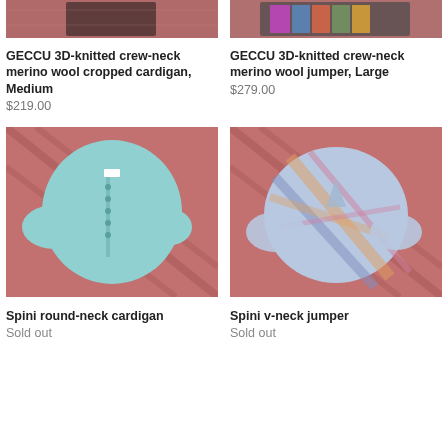[Figure (photo): GECCU 3D-knitted crew-neck merino wool cropped cardigan, Medium — dark garment on red patterned background]
[Figure (photo): GECCU 3D-knitted crew-neck merino wool jumper, Large — colourful display on patterned background]
GECCU 3D-knitted crew-neck merino wool cropped cardigan, Medium
$219.00
GECCU 3D-knitted crew-neck merino wool jumper, Large
$279.00
[Figure (photo): Spini round-neck cardigan — light blue knit cardigan on red patterned background]
[Figure (photo): Spini v-neck jumper — plaid multicolour jumper on red patterned background]
Spini round-neck cardigan
Sold out
Spini v-neck jumper
Sold out